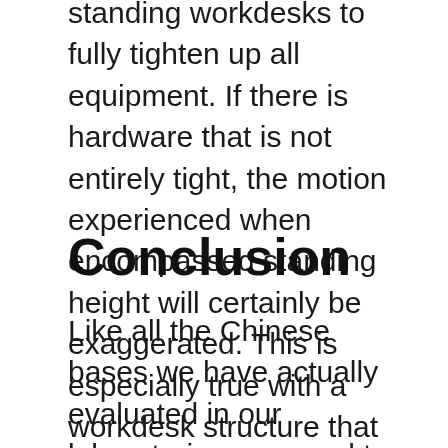standing workdesks to fully tighten up all equipment. If there is hardware that is not entirely tight, the motion experienced when encompassed standing height will certainly be exaggerated. This is especially true with a workdesk structure that consists of 32 screws, there are far a lot of factors at which the desk has an opportunity to relocate.
Conclusion
Like all the Chinese bases we have actually evaluated in our laboratories, we need to narrow our recommendation on the StandDesk Pro to much shorter individuals with narrower desktop computers, as the stability simply isn't there for a big mass boosted high off the ground. American made